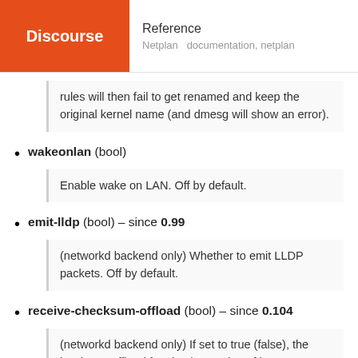Discourse | Reference | Netplan  documentation, netplan
rules will then fail to get renamed and keep the original kernel name (and dmesg will show an error).
wakeonlan (bool)
Enable wake on LAN. Off by default.
emit-lldp (bool) – since 0.99
(networkd backend only) Whether to emit LLDP packets. Off by default.
receive-checksum-offload (bool) – since 0.104
(networkd backend only) If set to true (false), the hardware offload for checksumming of ingress net…